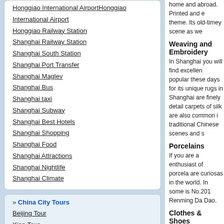Honggiao International Airport
Honggiao Railway Station
Shanghai Railway Station
Shanghai South Station
Shanghai Port Transfer
Shanghai Maglev
Shanghai Bus
Shanghai taxi
Shanghai Subway
Shanghai Best Hotels
Shanghai Shopping
Shanghai Food
Shanghai Attractions
Shanghai Nightlife
Shanghai Climate
» China City Tours
Beijing Tour
Xian Tour
Shanghai Tour
Guilin Tour
home and abroad. Printed and e theme. Its old-timey scene as we
Weaving and Embroidery
In Shanghai you will find excellen popular these days for its unique rugs in Shanghai are finely detail carpets of silk are also common i traditional Chinese scenes and s
Porcelains
If you are a enthusiast of porcela are curiosas in the world. In some is No.201 Renming Da Dao.
Clothes & Shoes
If you are interested in boutiques destination. It contains about 20 Hotel. Nanjing Road and Huaihai Huacoa Road are crowded with s
Best Markets in Shanghai
Famouse Shopping Stree
Four Bustling Cities in Sh